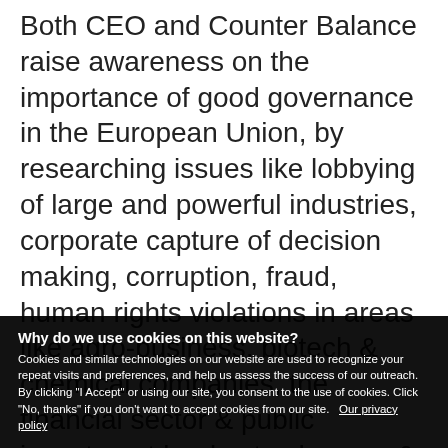Both CEO and Counter Balance raise awareness on the importance of good governance in the European Union, by researching issues like lobbying of large and powerful industries, corporate capture of decision making, corruption, fraud, human rights violations in areas like agro-business, biotech & chemical companies, the financial sector & public investment banks, tax havens & other corporate tax research and much more.

You can find us on iTunes, Spotify &
Why do we use cookies on this website? Cookies and similar technologies on our website are used to recognize your repeat visits and preferences, and help us assess the success of our outreach. By clicking "I Accept" or using our site, you consent to the use of cookies. Click "No, thanks" if you don't want to accept cookies from our site. Our privacy policy